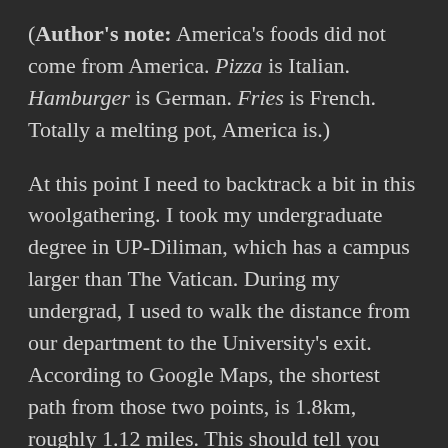(Author's note: America's foods did not come from America. Pizza is Italian. Hamburger is German. Fries is French. Totally a melting pot, America is.)
At this point I need to backtrack a bit in this woolgathering. I took my undergraduate degree in UP-Diliman, which has a campus larger than The Vatican. During my undergrad, I used to walk the distance from our department to the University's exit. According to Google Maps, the shortest path from those two points, is 1.8km, roughly 1.12 miles. This should tell you what distances do I consider walking distances.
I started walking towards that Mexican place. I was wearing city shorts and sandals, which is what I'd wear for any hike in the Philippines, which is also mistake number one. California, you see, is biting